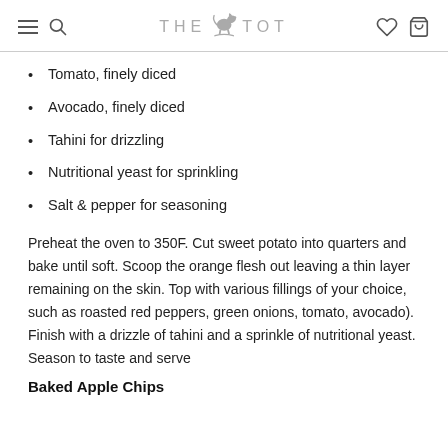THE TOT
Tomato, finely diced
Avocado, finely diced
Tahini for drizzling
Nutritional yeast for sprinkling
Salt & pepper for seasoning
Preheat the oven to 350F. Cut sweet potato into quarters and bake until soft. Scoop the orange flesh out leaving a thin layer remaining on the skin. Top with various fillings of your choice, such as roasted red peppers, green onions, tomato, avocado). Finish with a drizzle of tahini and a sprinkle of nutritional yeast. Season to taste and serve
Baked Apple Chips